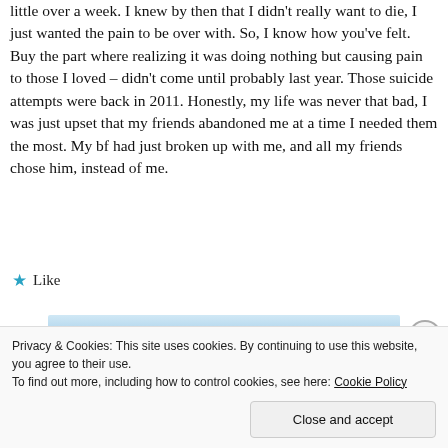little over a week. I knew by then that I didn't really want to die, I just wanted the pain to be over with. So, I know how you've felt. Buy the part where realizing it was doing nothing but causing pain to those I loved – didn't come until probably last year. Those suicide attempts were back in 2011. Honestly, my life was never that bad, I was just upset that my friends abandoned me at a time I needed them the most. My bf had just broken up with me, and all my friends chose him, instead of me.
★ Like
[Figure (other): Tumblr Ad-Free banner advertisement with blue wave background]
Privacy & Cookies: This site uses cookies. By continuing to use this website, you agree to their use.
To find out more, including how to control cookies, see here: Cookie Policy
Close and accept